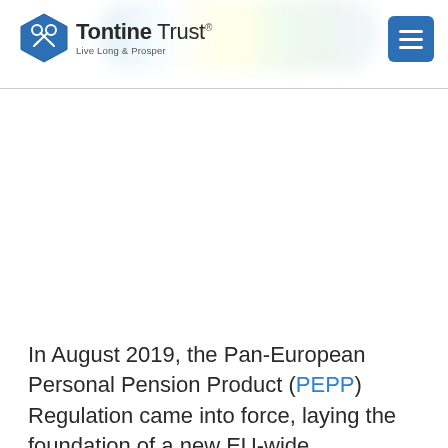Tontine Trust® Live Long & Prosper
[Figure (illustration): Tontine Trust logo with hexagonal badge icon and tagline 'Live Long & Prosper', with colorful gradient blobs in header background and a blue hamburger menu button]
In August 2019, the Pan-European Personal Pension Product (PEPP) Regulation came into force, laying the foundation of a new EU-wide